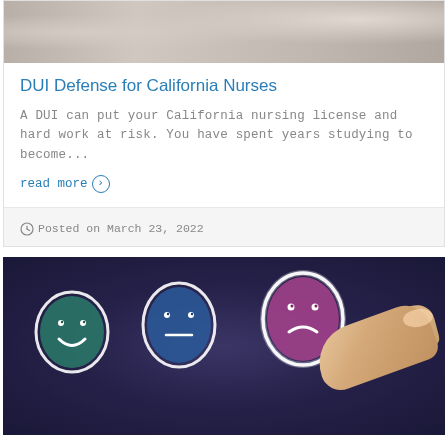[Figure (photo): Partial photo of a medical/nursing scene at the top of a blog card]
DUI Defense for California Nurses
A DUI can put your California nursing license and hard work at risk. You have spent years studying to become...
read more ⊙
Posted on March 23, 2022
[Figure (photo): Photo of a touchscreen tablet showing three emoji faces (happy green, neutral blue, sad pink) with a finger pressing the sad face]